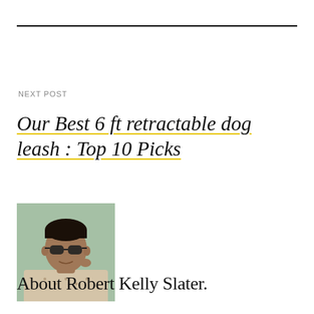NEXT POST
Our Best 6 ft retractable dog leash : Top 10 Picks
[Figure (photo): Portrait photo of Robert Kelly Slater, a man wearing sunglasses and a patterned shirt, photographed from the shoulder up.]
About Robert Kelly Slater.